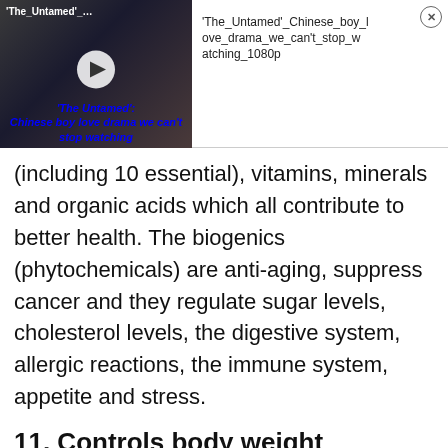[Figure (screenshot): Video ad banner showing 'The Untamed' Chinese boy love drama thumbnail with play button and title text]
(including 10 essential), vitamins, minerals and organic acids which all contribute to better health. The biogenics (phytochemicals) are anti-aging, suppress cancer and they regulate sugar levels, cholesterol levels, the digestive system, allergic reactions, the immune system, appetite and stress.
11. Controls body weight
BIO-15 controls weight. How? Scientists believe